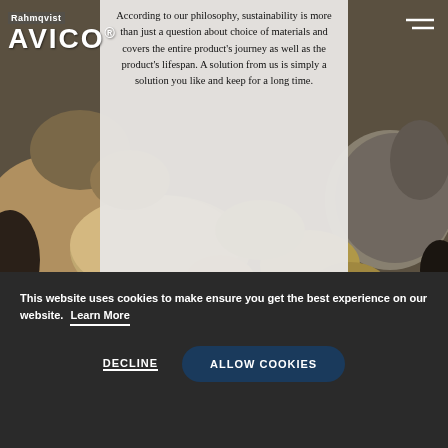[Figure (photo): Background photo of rocks and stones in natural setting, mixed colors of brown, gray, and beige]
Rahmqvist AVICO®
According to our philosophy, sustainability is more than just a question about choice of materials and covers the entire product's journey as well as the product's lifespan. A solution from us is simply a solution you like and keep for a long time.
This website uses cookies to make ensure you get the best experience on our website. Learn More
DECLINE
ALLOW COOKIES